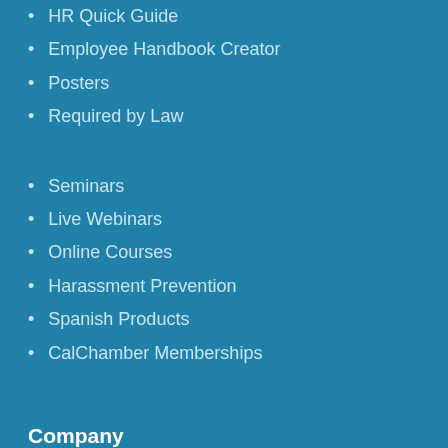HR Quick Guide
Employee Handbook Creator
Posters
Required by Law
Seminars
Live Webinars
Online Courses
Harassment Prevention
Spanish Products
CalChamber Memberships
Company
About Us
Career Opportunities